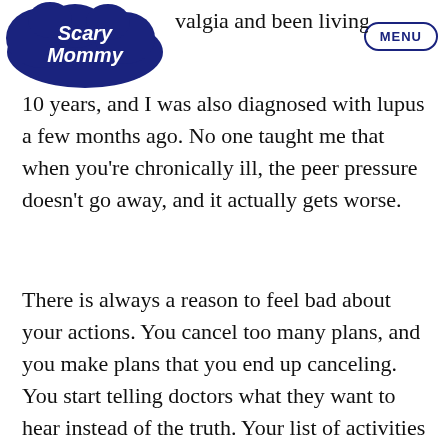Scary Mommy | MENU
valgia and been living in d... 10 years, and I was also diagnosed with lupus a few months ago. No one taught me that when you’re chronically ill, the peer pressure doesn’t go away, and it actually gets worse.
There is always a reason to feel bad about your actions. You cancel too many plans, and you make plans that you end up canceling. You start telling doctors what they want to hear instead of the truth. Your list of activities that you can do keeps getting shorter. You go out with your friends, but you are the first one to leave. You’re